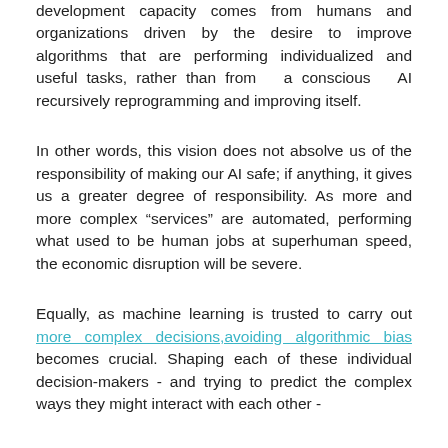development capacity comes from humans and organizations driven by the desire to improve algorithms that are performing individualized and useful tasks, rather than from  a conscious  AI recursively reprogramming and improving itself.
In other words, this vision does not absolve us of the responsibility of making our AI safe; if anything, it gives us a greater degree of responsibility. As more and more complex “services” are automated, performing what used to be human jobs at superhuman speed, the economic disruption will be severe.
Equally, as machine learning is trusted to carry out more complex decisions,avoiding algorithmic bias becomes crucial. Shaping each of these individual decision-makers - and trying to predict the complex ways they might interact with each other -